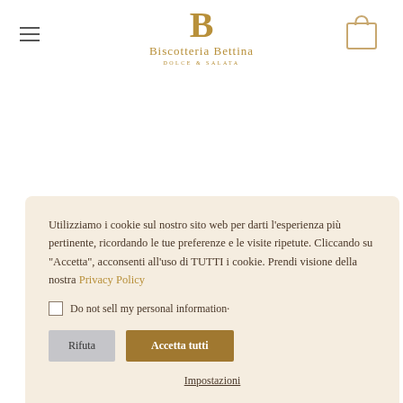[Figure (logo): Biscotteria Bettina logo with stylized B monogram in gold/tan color, text 'Biscotteria Bettina' and subtitle 'DOLCE & SALATA']
[Figure (illustration): Shopping bag outline icon in gold/tan color]
Utilizziamo i cookie sul nostro sito web per darti l'esperienza più pertinente, ricordando le tue preferenze e le visite ripetute. Cliccando su "Accetta", acconsenti all'uso di TUTTI i cookie. Prendi visione della nostra Privacy Policy
Do not sell my personal information·
Rifuta
Accetta tutti
Impostazioni